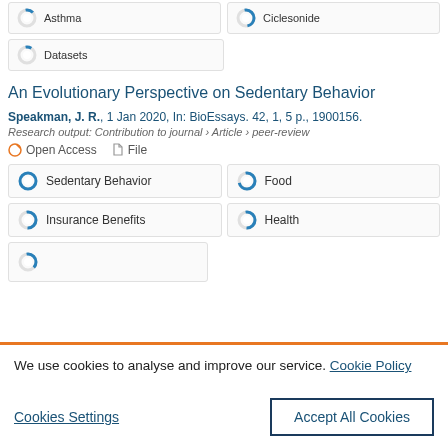[Figure (other): Partial keyword tags: Asthma (donut ~15%) and Ciclesonide (donut ~50%) with datasets tag below showing small donut]
An Evolutionary Perspective on Sedentary Behavior
Speakman, J. R., 1 Jan 2020, In: BioEssays. 42, 1, 5 p., 1900156.
Research output: Contribution to journal › Article › peer-review
Open Access   File
[Figure (other): Keyword badges: Sedentary Behavior (100% donut), Food (75% donut), Insurance Benefits (55% donut), Health (55% donut), plus partial row below]
We use cookies to analyse and improve our service. Cookie Policy
Cookies Settings
Accept All Cookies